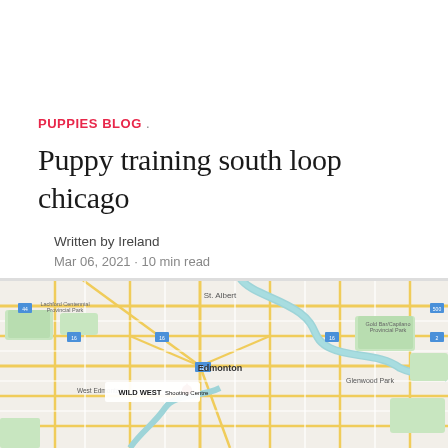PUPPIES BLOG .
Puppy training south loop chicago
Written by Ireland
Mar 06, 2021 · 10 min read
[Figure (map): Google Maps view showing Edmonton area with Wild West Shooting Centre marked, road networks, parks, and surrounding neighborhoods including West Edmonton, Glenwood Park, and surrounding areas.]